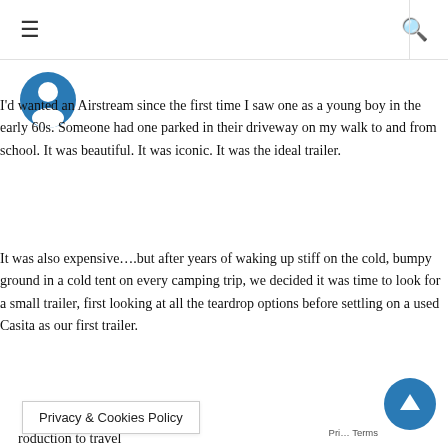≡  🔍
[Figure (illustration): Blue circular avatar/logo partially visible at top left]
Your Airstream may not be worth the price… but mine is.
I'd wanted an Airstream since the first time I saw one as a young boy in the early 60s. Someone had one parked in their driveway on my walk to and from school. It was beautiful. It was iconic. It was the ideal trailer.
It was also expensive….but after years of waking up stiff on the cold, bumpy ground in a cold tent on every camping trip, we decided it was time to look for a small trailer, first looking at all the teardrop options before settling on a used Casita as our first trailer.
roduction to travel
Privacy & Cookies Policy